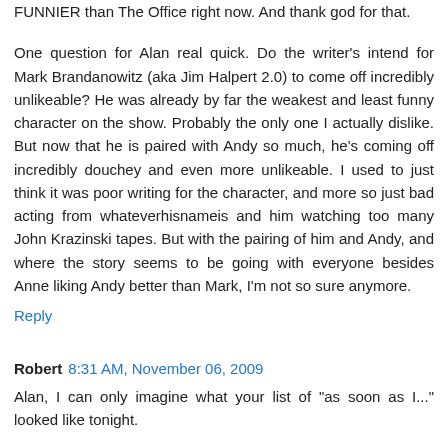FUNNIER than The Office right now. And thank god for that.
One question for Alan real quick. Do the writer's intend for Mark Brandanowitz (aka Jim Halpert 2.0) to come off incredibly unlikeable? He was already by far the weakest and least funny character on the show. Probably the only one I actually dislike. But now that he is paired with Andy so much, he's coming off incredibly douchey and even more unlikeable. I used to just think it was poor writing for the character, and more so just bad acting from whateverhisnameis and him watching too many John Krazinski tapes. But with the pairing of him and Andy, and where the story seems to be going with everyone besides Anne liking Andy better than Mark, I'm not so sure anymore.
Reply
Robert  8:31 AM, November 06, 2009
Alan, I can only imagine what your list of "as soon as I..." looked like tonight.